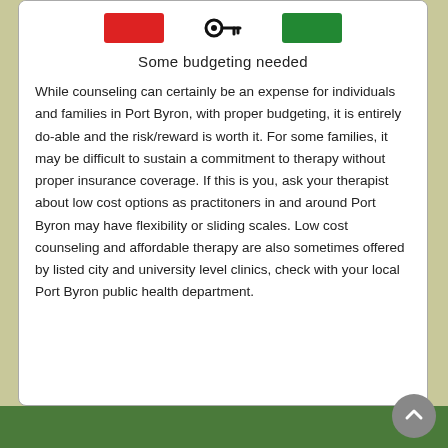[Figure (illustration): Top portion showing red rectangle icon, black key icon, and green rectangle icon]
Some budgeting needed
While counseling can certainly be an expense for individuals and families in Port Byron, with proper budgeting, it is entirely do-able and the risk/reward is worth it. For some families, it may be difficult to sustain a commitment to therapy without proper insurance coverage. If this is you, ask your therapist about low cost options as practitoners in and around Port Byron may have flexibility or sliding scales. Low cost counseling and affordable therapy are also sometimes offered by listed city and university level clinics, check with your local Port Byron public health department.